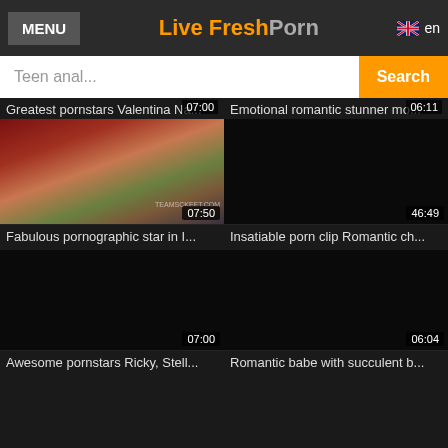MENU | Live FreshPorn | en
Teen anal... Search
07:00
Greatest pornstars Valentina Na...
06:11
Emotional romantic stunner mo...
[Figure (photo): Video thumbnail showing two people on a couch with TEAMSCKEET.COM watermark, duration 07:50]
Fabulous pornographic star in I...
46:49
Insatiable porn clip Romantic ch...
07:00
Awesome pornstars Ricky, Stell...
06:04
Romantic babe with succulent b...